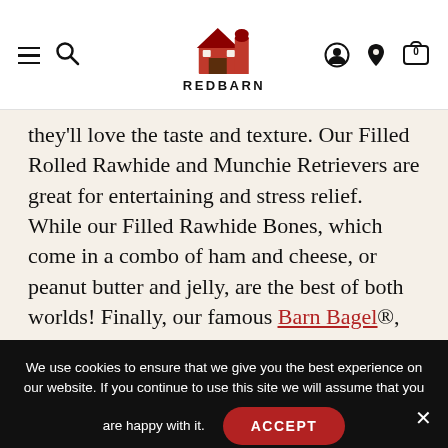[Figure (logo): Red Barn logo with red barn and silo illustration above the text REDBARN]
they'll love the taste and texture. Our Filled Rolled Rawhide and Munchie Retrievers are great for entertaining and stress relief. While our Filled Rawhide Bones, which come in a combo of ham and cheese, or peanut butter and jelly, are the best of both worlds! Finally, our famous Barn Bagel®, shaped like a real bagel with a peanut butter filling and Roofle® featuring a
We use cookies to ensure that we give you the best experience on our website. If you continue to use this site we will assume that you are happy with it.